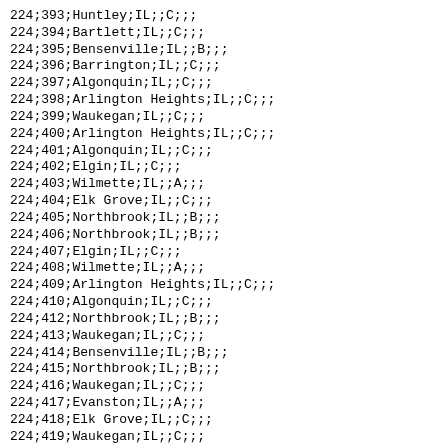224;393;Huntley;IL;;C;;;
224;394;Bartlett;IL;;C;;;
224;395;Bensenville;IL;;B;;;
224;396;Barrington;IL;;C;;;
224;397;Algonquin;IL;;C;;;
224;398;Arlington Heights;IL;;C;;;
224;399;Waukegan;IL;;C;;;
224;400;Arlington Heights;IL;;C;;;
224;401;Algonquin;IL;;C;;;
224;402;Elgin;IL;;C;;;
224;403;Wilmette;IL;;A;;;
224;404;Elk Grove;IL;;C;;;
224;405;Northbrook;IL;;B;;;
224;406;Northbrook;IL;;B;;;
224;407;Elgin;IL;;C;;;
224;408;Wilmette;IL;;A;;;
224;409;Arlington Heights;IL;;C;;;
224;410;Algonquin;IL;;C;;;
224;412;Northbrook;IL;;B;;;
224;413;Waukegan;IL;;C;;;
224;414;Bensenville;IL;;B;;;
224;415;Northbrook;IL;;B;;;
224;416;Waukegan;IL;;C;;;
224;417;Evanston;IL;;A;;;
224;418;Elk Grove;IL;;C;;;
224;419;Waukegan;IL;;C;;;
224;420;Evanston;IL;;A;;;
224;421;Arlington Heights;IL;;C;;;
224;422;Des Plaines;IL;;B;;;
224;423;Des Plaines;IL;;B;;;